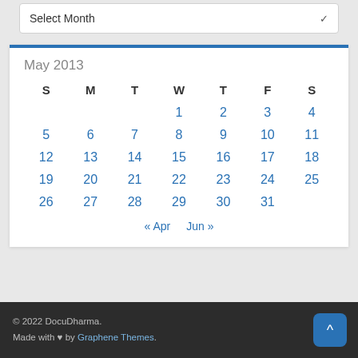Select Month
| S | M | T | W | T | F | S |
| --- | --- | --- | --- | --- | --- | --- |
|  |  |  | 1 | 2 | 3 | 4 |
| 5 | 6 | 7 | 8 | 9 | 10 | 11 |
| 12 | 13 | 14 | 15 | 16 | 17 | 18 |
| 19 | 20 | 21 | 22 | 23 | 24 | 25 |
| 26 | 27 | 28 | 29 | 30 | 31 |  |
« Apr  Jun »
© 2022 DocuDharma. Made with ♥ by Graphene Themes.